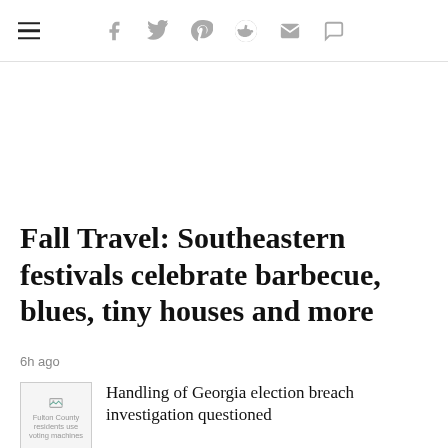navigation bar with hamburger menu and social icons: facebook, twitter, pinterest, reddit, mail, comment
Fall Travel: Southeastern festivals celebrate barbecue, blues, tiny houses and more
6h ago
[Figure (photo): Thumbnail image placeholder: Fulton County residents use voting machines]
Handling of Georgia election breach investigation questioned